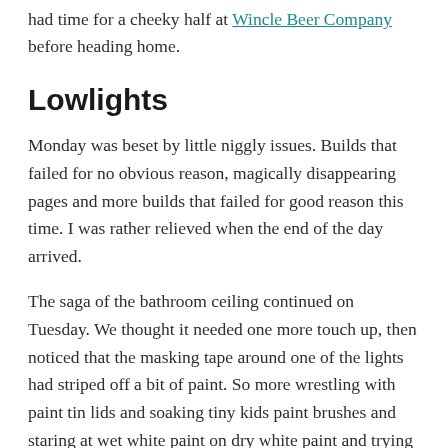had time for a cheeky half at Wincle Beer Company before heading home.
Lowlights
Monday was beset by little niggly issues. Builds that failed for no obvious reason, magically disappearing pages and more builds that failed for good reason this time. I was rather relieved when the end of the day arrived.
The saga of the bathroom ceiling continued on Tuesday. We thought it needed one more touch up, then noticed that the masking tape around one of the lights had striped off a bit of paint. So more wrestling with paint tin lids and soaking tiny kids paint brushes and staring at wet white paint on dry white paint and trying to blend them. I